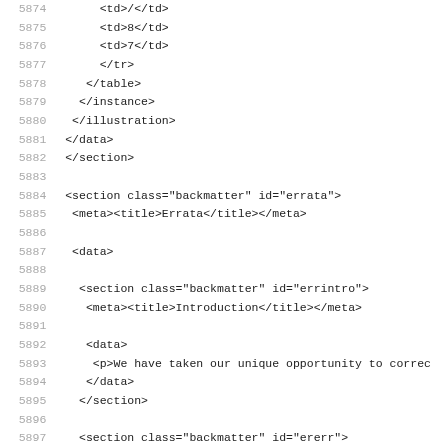Code listing lines 5874-5906 showing XML markup for backmatter sections including table closing tags, section tags, meta titles for Errata and Introduction, and data paragraphs.